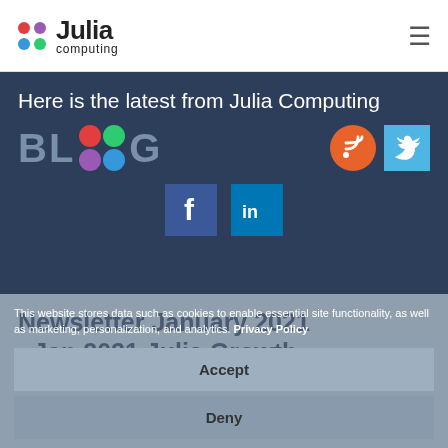Julia Computing — navigation header with logo and hamburger menu
Here is the latest from Julia Computing
[Figure (logo): BLOG text with colored dots and social media icons: RSS (orange circle), Twitter (blue square), Facebook (blue square), LinkedIn (blue square)]
Newsletter January 2021 - Jan 2021 Julia Growth Indicators
This website stores data such as cookies to enable essential site functionality, as well as marketing, personalization, and analytics. Privacy Policy
Accept
Deny